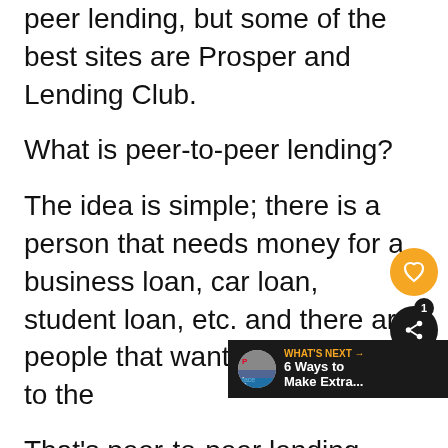peer lending, but some of the best sites are Prosper and Lending Club.
What is peer-to-peer lending?
The idea is simple; there is a person that needs money for a business loan, car loan, student loan, etc. and there are people that want to lend money to the
That’s peer-to-peer lending
Don’t be scared if you’ve never